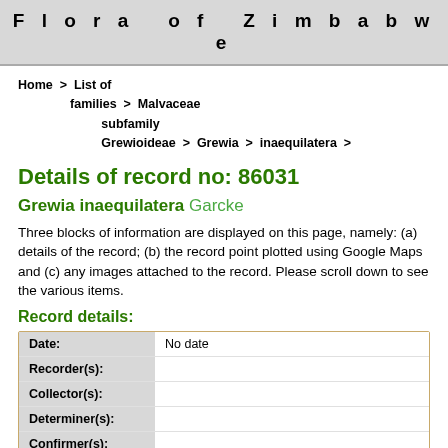Flora of Zimbabwe
Home > List of families > Malvaceae subfamily Grewioideae > Grewia > inaequilatera >
Details of record no: 86031
Grewia inaequilatera Garcke
Three blocks of information are displayed on this page, namely: (a) details of the record; (b) the record point plotted using Google Maps and (c) any images attached to the record. Please scroll down to see the various items.
Record details:
| Field | Value |
| --- | --- |
| Date: | No date |
| Recorder(s): |  |
| Collector(s): |  |
| Determiner(s): |  |
| Confirmer(s): |  |
| Herbarium: |  |
| Habitat: |  |